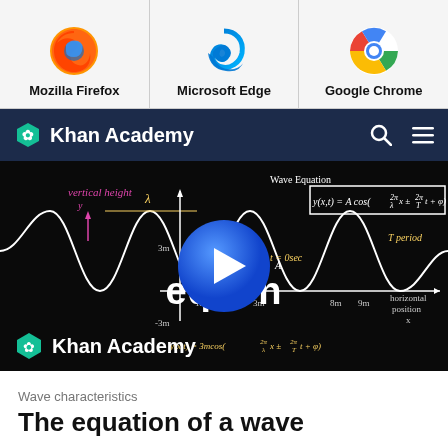[Figure (screenshot): Three browser icons in a row: Mozilla Firefox, Microsoft Edge, Google Chrome]
Mozilla Firefox
Microsoft Edge
Google Chrome
Khan Academy
[Figure (screenshot): Khan Academy video thumbnail showing a wave equation on a blackboard with a play button overlay and Khan Academy logo at the bottom. Text overlay reads 'Wave equation'.]
Wave characteristics
The equation of a wave